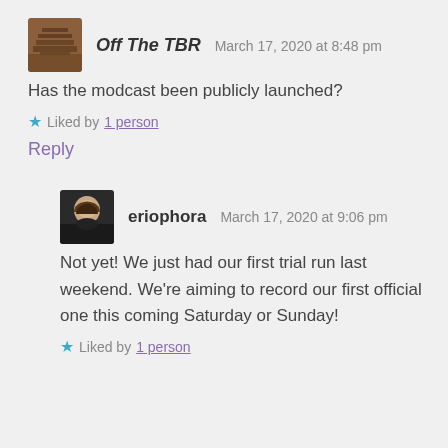Off The TBR   March 17, 2020 at 8:48 pm
Has the modcast been publicly launched?
★ Liked by 1 person
Reply
eriophora   March 17, 2020 at 9:06 pm
Not yet! We just had our first trial run last weekend. We're aiming to record our first official one this coming Saturday or Sunday!
★ Liked by 1 person